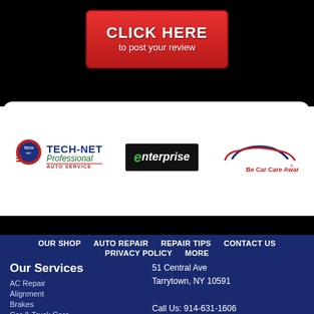[Figure (other): Red button with text CLICK HERE to post your review]
[Figure (logo): Tech-Net Professional Auto Service logo]
[Figure (logo): Enterprise rent-a-car logo]
[Figure (logo): Be Car Care Aware logo]
OUR SHOP   AUTO REPAIR   REPAIR TIPS   CONTACT US   PRIVACY POLICY   MORE
Our Services
AC Repair
Alignment
Brakes
Car & Truck Care
Domestic Cars & Trucks
51 Central Ave
Tarrytown, NY 10591

Call Us: 914-631-1606
Email Us | Get Directions